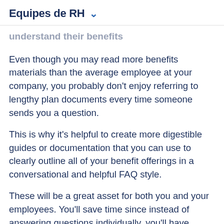Equipes de RH
understand their benefits
Even though you may read more benefits materials than the average employee at your company, you probably don't enjoy referring to lengthy plan documents every time someone sends you a question.
This is why it's helpful to create more digestible guides or documentation that you can use to clearly outline all of your benefit offerings in a conversational and helpful FAQ style.
These will be a great asset for both you and your employees. You'll save time since instead of answering questions individually, you'll have something to refer employees to when they have a common benefits question. Employees will have an